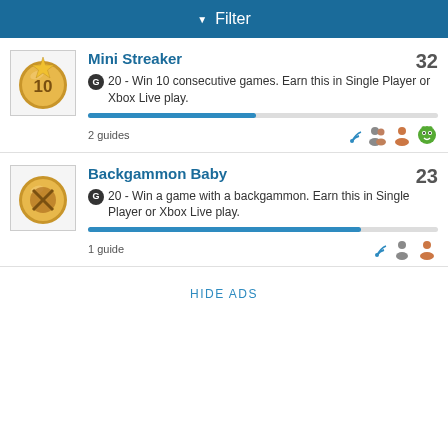Filter
Mini Streaker  32
G 20 - Win 10 consecutive games. Earn this in Single Player or Xbox Live play.
2 guides
Backgammon Baby  23
G 20 - Win a game with a backgammon. Earn this in Single Player or Xbox Live play.
1 guide
HIDE ADS